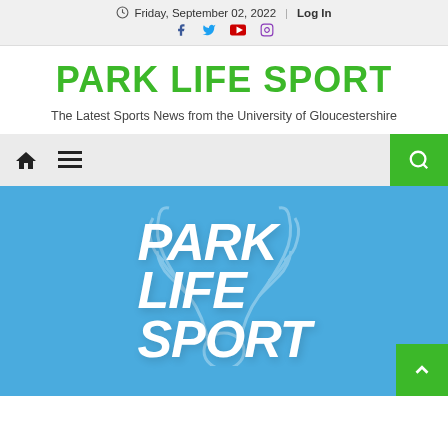Friday, September 02, 2022 | Log In
PARK LIFE SPORT
The Latest Sports News from the University of Gloucestershire
[Figure (screenshot): Navigation bar with home icon, hamburger menu icon, and green search button]
[Figure (logo): Park Life Sport logo on blue background with antler graphic and bold white stacked text reading PARK LIFE SPORT]